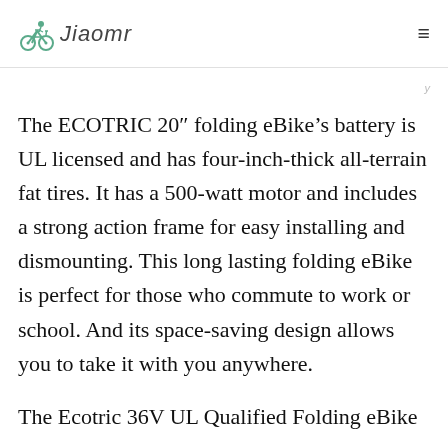Jiaomr
The ECOTRIC 20″ folding eBike’s battery is UL licensed and has four-inch-thick all-terrain fat tires. It has a 500-watt motor and includes a strong action frame for easy installing and dismounting. This long lasting folding eBike is perfect for those who commute to work or school. And its space-saving design allows you to take it with you anywhere.
The Ecotric 36V UL Qualified Folding eBike